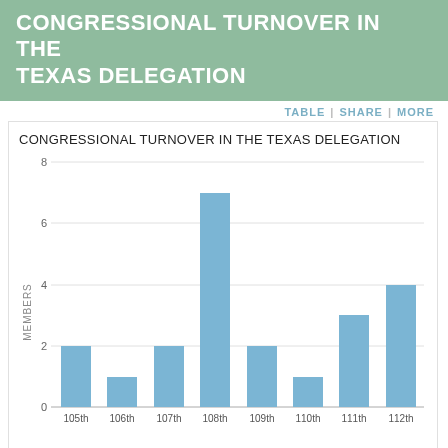CONGRESSIONAL TURNOVER IN THE TEXAS DELEGATION
[Figure (bar-chart): CONGRESSIONAL TURNOVER IN THE TEXAS DELEGATION]